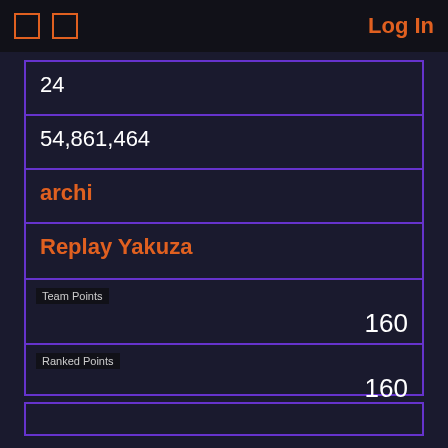Log In
24
54,861,464
archi
Replay Yakuza
Team Points 160
Ranked Points 160
Recording
I don't understand this game